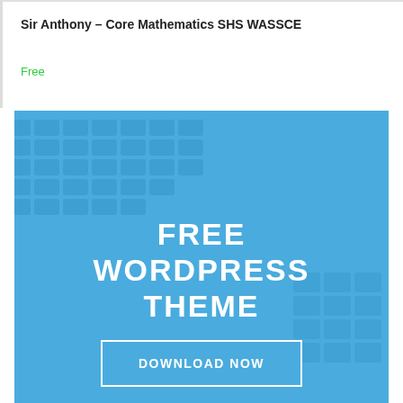Sir Anthony – Core Mathematics SHS WASSCE
Free
[Figure (illustration): Blue banner with keyboard/laptop background showing FREE WORDPRESS THEME text and a DOWNLOAD NOW button]